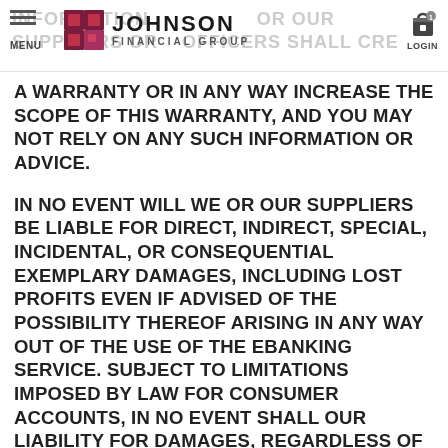JOHNSON FINANCIAL GROUP — MENU | LOGIN
INFORMATION OR ADVICE. NO ORAL OR WRITTEN INFORMATION OR ADVICE GIVEN BY OUR SUPPLIERS OR PRODUCTS OR OFFICER'S SHALL CREATE A WARRANTY OR IN ANY WAY INCREASE THE SCOPE OF THIS WARRANTY, AND YOU MAY NOT RELY ON ANY SUCH INFORMATION OR ADVICE.
IN NO EVENT WILL WE OR OUR SUPPLIERS BE LIABLE FOR DIRECT, INDIRECT, SPECIAL, INCIDENTAL, OR CONSEQUENTIAL EXEMPLARY DAMAGES, INCLUDING LOST PROFITS EVEN IF ADVISED OF THE POSSIBILITY THEREOF ARISING IN ANY WAY OUT OF THE USE OF THE EBANKING SERVICE. SUBJECT TO LIMITATIONS IMPOSED BY LAW FOR CONSUMER ACCOUNTS, IN NO EVENT SHALL OUR LIABILITY FOR DAMAGES, REGARDLESS OF CAUSE OR FORM OF ACTION, WHETHER IN CONTRACT OR IN TORT (INCLUDING NEGLIGENCE, DEFAMATION, AND/OR PRIVACY ACTIONS), EXCEED THE GREATER OF (1) YOUR INVOICE